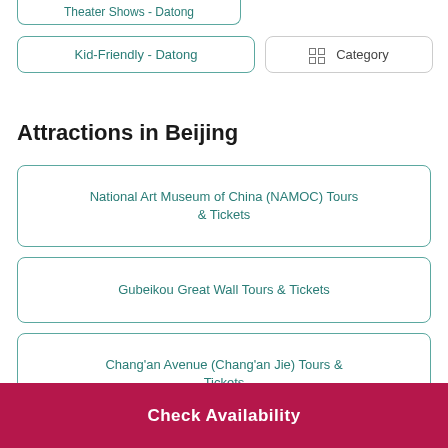Theater Shows - Datong
Kid-Friendly - Datong
Category
Attractions in Beijing
National Art Museum of China (NAMOC) Tours & Tickets
Gubeikou Great Wall Tours & Tickets
Chang'an Avenue (Chang'an Jie) Tours & Tickets
Great Wall from...
Check Availability